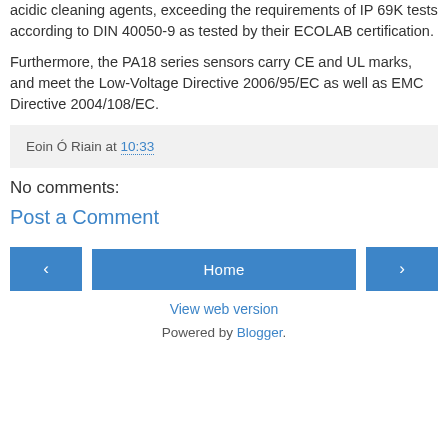acidic cleaning agents, exceeding the requirements of IP 69K tests according to DIN 40050-9 as tested by their ECOLAB certification.
Furthermore, the PA18 series sensors carry CE and UL marks, and meet the Low-Voltage Directive 2006/95/EC as well as EMC Directive 2004/108/EC.
Eoin Ó Riain at 10:33
No comments:
Post a Comment
Home
View web version
Powered by Blogger.